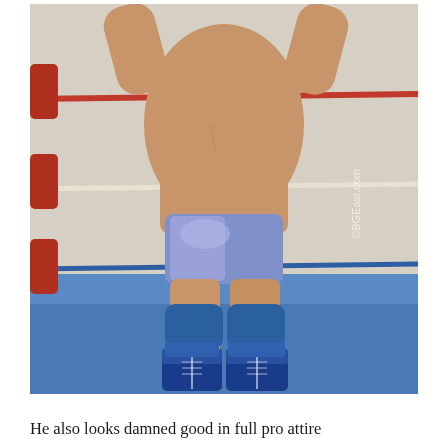[Figure (photo): A male professional wrestler standing in a wrestling ring with arms raised above his head. He wears shiny blue/silver trunks, blue knee pads, and blue lace-up wrestling boots. Red and blue ropes of the wrestling ring are visible in the background along with red corner pads. The ring mat is blue. A watermark reading BGEast.com is visible on the right side of the image.]
He also looks damned good in full pro attire